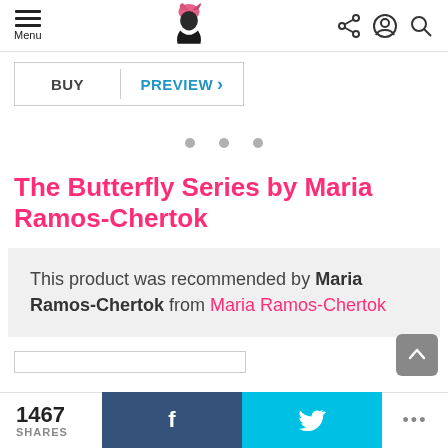Menu | [logo] | [share icon] [account icon] [search icon]
BUY | PREVIEW >
[Figure (other): Three grey pagination dots]
The Butterfly Series by Maria Ramos-Chertok
This product was recommended by Maria Ramos-Chertok from Maria Ramos-Chertok
1467 SHARES | f | [Twitter bird] | ...